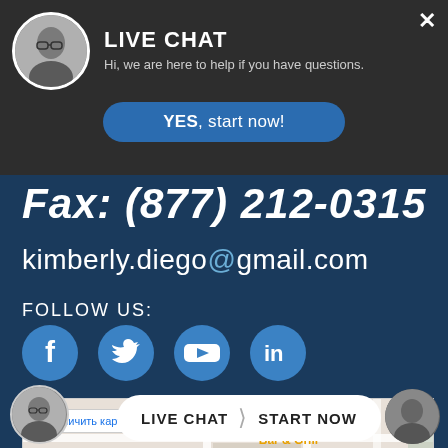[Figure (screenshot): Live chat overlay popup with agent photo, title LIVE CHAT, subtitle text, and YES start now button]
Fax: (877) 212-0315
kimberly.diego@gmail.com
FOLLOW US:
[Figure (infographic): Social media icons row: Facebook, Twitter, YouTube, LinkedIn]
[Figure (map): Google Maps embed showing Charlie Brown's Bar & Grill location with pin]
[Figure (screenshot): Live Chat START NOW button bar at the bottom with agent photo]